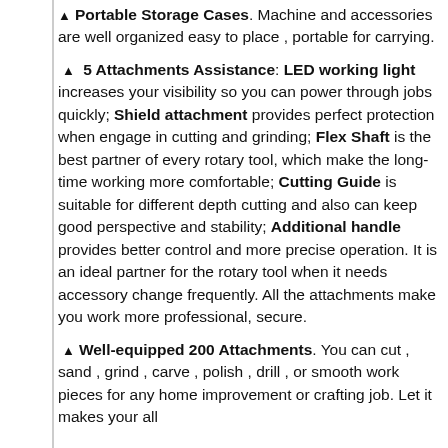▲ Portable Storage Cases. Machine and accessories are well organized easy to place , portable for carrying.
▲ 5 Attachments Assistance: LED working light increases your visibility so you can power through jobs quickly; Shield attachment provides perfect protection when engage in cutting and grinding; Flex Shaft is the best partner of every rotary tool, which make the long-time working more comfortable; Cutting Guide is suitable for different depth cutting and also can keep good perspective and stability; Additional handle provides better control and more precise operation. It is an ideal partner for the rotary tool when it needs accessory change frequently. All the attachments make you work more professional, secure.
▲ Well-equipped 200 Attachments. You can cut , sand , grind , carve , polish , drill , or smooth work pieces for any home improvement or crafting job. Let it makes your all...